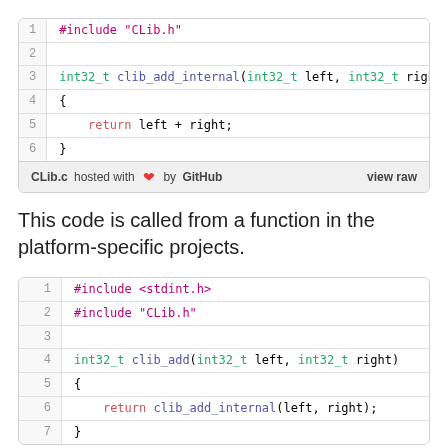[Figure (screenshot): GitHub Gist code block showing CLib.c with 6 lines: #include CLib.h, blank, int32_t clib_add_internal function definition, opening brace, return left + right, closing brace. Footer shows 'CLib.c hosted with heart by GitHub' and 'view raw'.]
This code is called from a function in the platform-specific projects.
[Figure (screenshot): GitHub Gist code block showing 7 lines: #include stdint.h, #include CLib.h, blank, int32_t clib_add function definition, opening brace, return clib_add_internal(left, right), closing brace.]